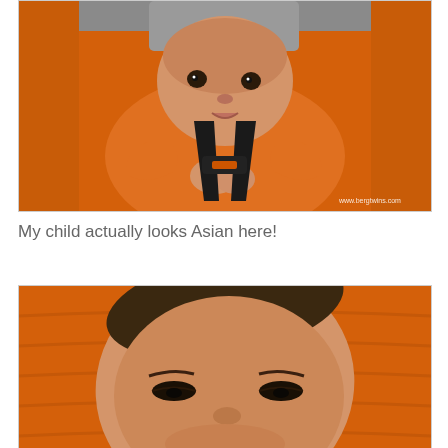[Figure (photo): A baby in an orange stroller/car seat with dark straps, wearing an orange outfit, looking at the camera with wide eyes. Watermark reads www.bergtwins.com]
My child actually looks Asian here!
[Figure (photo): Close-up of a baby's face tilted/rotated, in an orange stroller/car seat, eyes partially open or squinting, viewed from above]